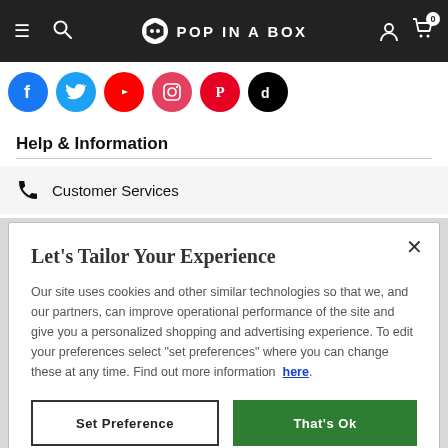Pop In A Box navigation bar with hamburger menu, search, logo, user icon, and cart
[Figure (illustration): Social media icons row: Facebook, Twitter, YouTube, Instagram, Pinterest, TikTok]
Help & Information
Customer Services
Let's Tailor Your Experience
Our site uses cookies and other similar technologies so that we, and our partners, can improve operational performance of the site and give you a personalized shopping and advertising experience. To edit your preferences select "set preferences" where you can change these at any time. Find out more information here.
Set Preference | That's Ok